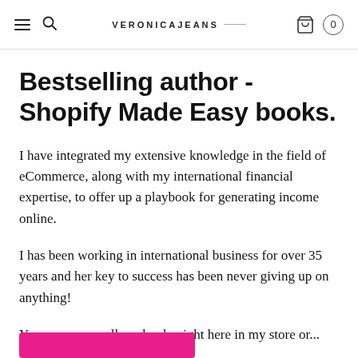VERONICAJEANS
Bestselling author - Shopify Made Easy books.
I have integrated my extensive knowledge in the field of eCommerce, along with my international financial expertise, to offer up a playbook for generating income online.
I has been working in international business for over 35 years and her key to success has been never giving up on anything!
You can access all my books right here in my store or...